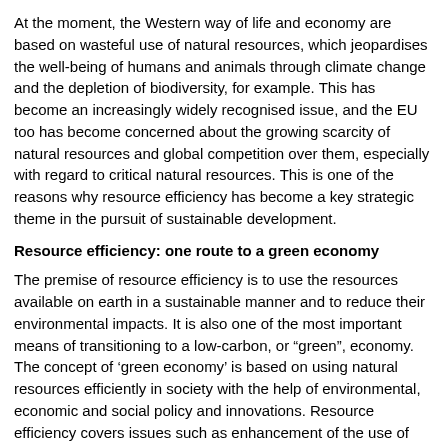At the moment, the Western way of life and economy are based on wasteful use of natural resources, which jeopardises the well-being of humans and animals through climate change and the depletion of biodiversity, for example. This has become an increasingly widely recognised issue, and the EU too has become concerned about the growing scarcity of natural resources and global competition over them, especially with regard to critical natural resources. This is one of the reasons why resource efficiency has become a key strategic theme in the pursuit of sustainable development.
Resource efficiency: one route to a green economy
The premise of resource efficiency is to use the resources available on earth in a sustainable manner and to reduce their environmental impacts. It is also one of the most important means of transitioning to a low-carbon, or “green”, economy. The concept of ‘green economy’ is based on using natural resources efficiently in society with the help of environmental, economic and social policy and innovations. Resource efficiency covers issues such as enhancement of the use of materials and energy and the recycling and reuse of products or waste. In its broadest sense, resource efficiency encompasses not just the use of materials and energy but also the use of air, water, land and soil.
Economic effects of resource efficiency